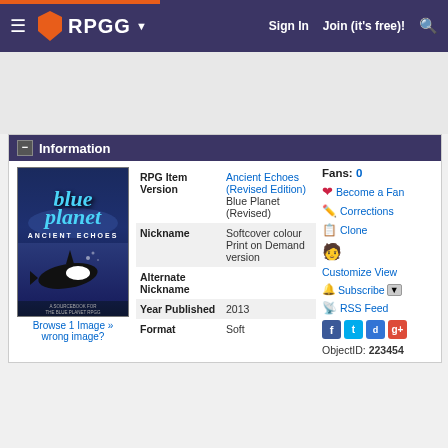RPGG | Sign In | Join (it's free)!
Information
[Figure (illustration): Book cover for Blue Planet: Ancient Echoes (Revised Edition) showing blue sci-fi underwater scene with orca]
Browse 1 Image » wrong image?
| Field | Value |
| --- | --- |
| RPG Item Version | Ancient Echoes (Revised Edition)
Blue Planet (Revised) |
| Nickname | Softcover colour Print on Demand version |
| Alternate Nickname |  |
| Year Published | 2013 |
| Format | Soft |
Fans: 0
Become a Fan
Corrections
Clone
Customize View
Subscribe
RSS Feed
ObjectID: 223454